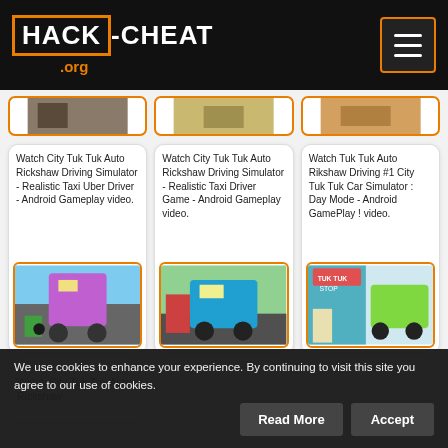HACK-CHEAT.org
[Figure (screenshot): Three partial game screenshot thumbnails at top of page]
Watch City Tuk Tuk Auto Rickshaw Driving Simulator - Realistic Taxi Uber Driver - Android Gameplay video.
[Figure (screenshot): Purple double-decker Tuk Tuk auto rickshaw game screenshot]
Watch City Tuk Tuk Auto Rickshaw Driving Simulator - Realistic Taxi Driver Game - Android Gameplay video.
[Figure (screenshot): Blue Tuk Tuk city driving game screenshot]
Watch Tuk Tuk Auto Rikshaw Driving #1 City Tuk Tuk Car Simulator : Day Mode - Android GamePlay ! video.
[Figure (screenshot): Green Tuk Tuk stop game screenshot]
Watch City Tuk Tuk Auto Rickshaw
We use cookies to enhance your experience. By continuing to visit this site you agree to our use of cookies.